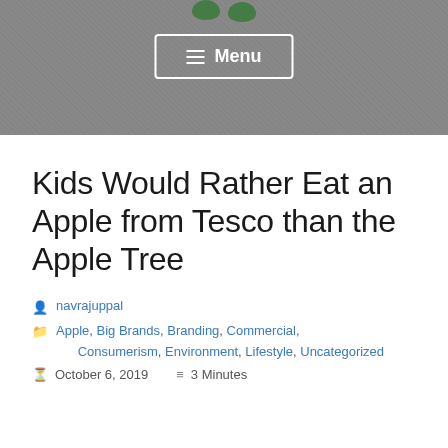[Figure (screenshot): Website header with dark grey textured background showing partial green logo at top and a Menu button with hamburger icon in white outlined rectangle]
Kids Would Rather Eat an Apple from Tesco than the Apple Tree
navrajuppal
Apple, Big Brands, Branding, Commercial, Consumerism, Environment, Lifestyle, Uncategorized
October 6, 2019   3 Minutes